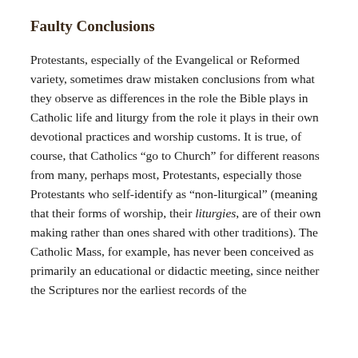Faulty Conclusions
Protestants, especially of the Evangelical or Reformed variety, sometimes draw mistaken conclusions from what they observe as differences in the role the Bible plays in Catholic life and liturgy from the role it plays in their own devotional practices and worship customs. It is true, of course, that Catholics “go to Church” for different reasons from many, perhaps most, Protestants, especially those Protestants who self-identify as “non-liturgical” (meaning that their forms of worship, their liturgies, are of their own making rather than ones shared with other traditions). The Catholic Mass, for example, has never been conceived as primarily an educational or didactic meeting, since neither the Scriptures nor the earliest records of the